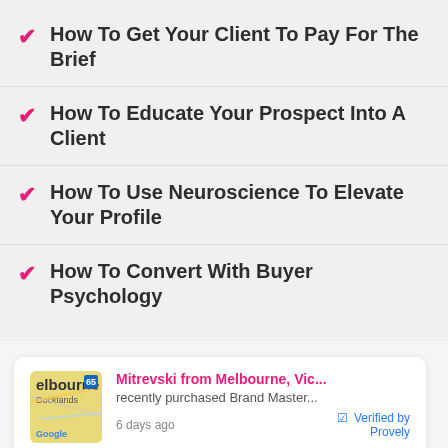How To Get Your Client To Pay For The Brief
How To Educate Your Prospect Into A Client
How To Use Neuroscience To Elevate Your Profile
How To Convert With Buyer Psychology
[Figure (screenshot): Provely notification card showing Mitrevski from Melbourne, Vic... recently purchased Brand Master... 6 days ago, Verified by Provely]
“First off, holy cow your course is amazing! It